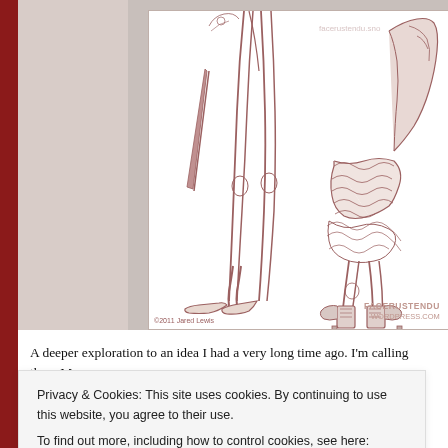[Figure (illustration): Sketch/line art illustration showing two figures from the waist down. Left figure has slender legs and wears low-heeled shoes, holding a knife. Right figure wears layered ruffled skirt, tall heeled boots, and carries a large bag. Art is in reddish-brown monochrome lines on white. Watermark 'facerustendu.wordpress.com' visible. Copyright '©2011 Jared Lewis' at bottom left.]
A deeper exploration to an idea I had a very long time ago. I'm calling them Mage
Privacy & Cookies: This site uses cookies. By continuing to use this website, you agree to their use.
To find out more, including how to control cookies, see here: Cookie Policy
Close and accept